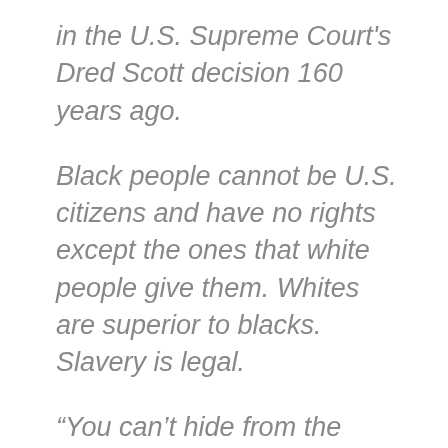in the U.S. Supreme Court's Dred Scott decision 160 years ago.
Black people cannot be U.S. citizens and have no rights except the ones that white people give them. Whites are superior to blacks. Slavery is legal.
“You can’t hide from the words that [Roger Brooke] Taney wrote,” Charlie Taney said, standing a few feet from a statue of his ancestor,